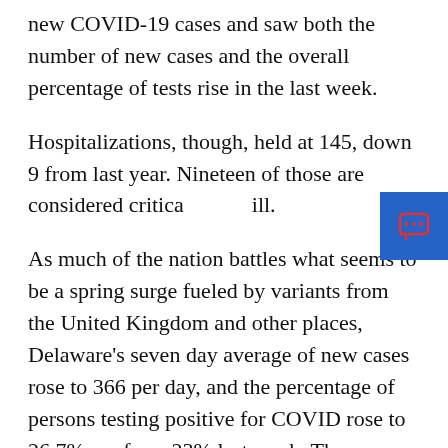new COVID-19 cases and saw both the number of new cases and the overall percentage of tests rise in the last week.
Hospitalizations, though, held at 145, down 9 from last year. Nineteen of those are considered critically ill.
As much of the nation battles what seems to be a spring surge fueled by variants from the United Kingdom and other places, Delaware's seven day average of new cases rose to 366 per day, and the percentage of persons testing positive for COVID rose to 26.7%. up from 23% last week. The percentage of positive tests rose to 6.4%, up from 5.4%.